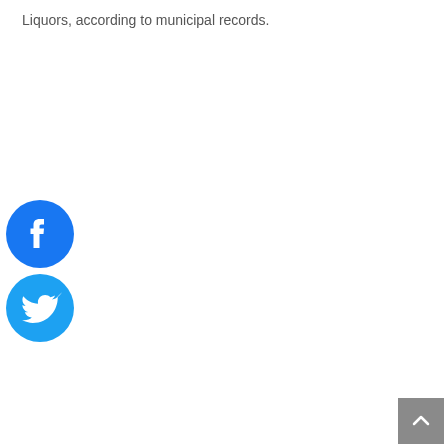Liquors, according to municipal records.
[Figure (logo): Facebook social media icon — blue circle with white 'f' logo]
[Figure (logo): Twitter social media icon — blue circle with white bird logo]
[Figure (other): Scroll-to-top button — grey square with upward arrow]